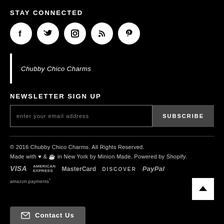STAY CONNECTED
[Figure (illustration): Five social media icons in white circles on black background: Facebook, Twitter, Instagram, RSS, Pinterest]
Chubby Chico Charms
NEWSLETTER SIGN UP
enter your email address  SUBSCRIBE
© 2016 Chubby Chico Charms. All Rights Reserved. Made with ♥ & ☕ in New York by Minion Made. Powered by Shopify. VISA  AMERICAN EXPRESS  MasterCard  DISCOVER  PayPal  amazon payments
Contact Us